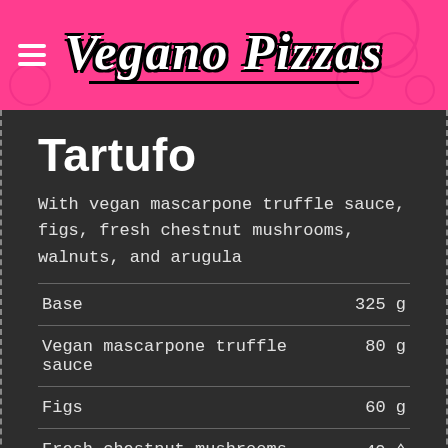Vegano Pizzas
Tartufo
With vegan mascarpone truffle sauce, figs, fresh chestnut mushrooms, walnuts, and arugula
| Ingredient | Amount |
| --- | --- |
| Base | 325 g |
| Vegan mascarpone truffle sauce | 80 g |
| Figs | 60 g |
| Fresh chestnut mushrooms | 40 ↑ |
| Walnuts | 10 g |